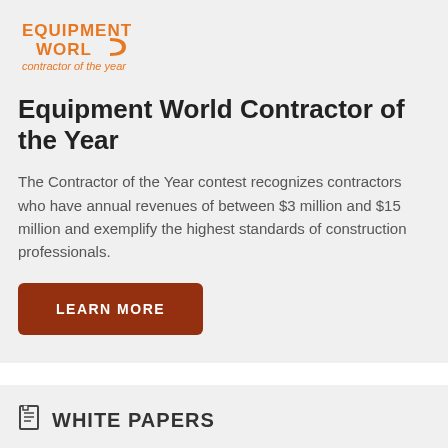[Figure (logo): Equipment World Contractor of the Year logo in orange]
Equipment World Contractor of the Year
The Contractor of the Year contest recognizes contractors who have annual revenues of between $3 million and $15 million and exemplify the highest standards of construction professionals.
LEARN MORE
WHITE PAPERS
8 Best Practices for Tire Safety